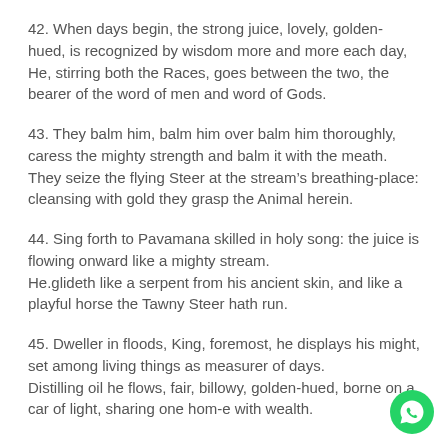42. When days begin, the strong juice, lovely, golden-hued, is recognized by wisdom more and more each day,
He, stirring both the Races, goes between the two, the bearer of the word of men and word of Gods.
43. They balm him, balm him over balm him thoroughly, caress the mighty strength and balm it with the meath.
They seize the flying Steer at the stream’s breathing-place: cleansing with gold they grasp the Animal herein.
44. Sing forth to Pavamana skilled in holy song: the juice is flowing onward like a mighty stream.
He.glideth like a serpent from his ancient skin, and like a playful horse the Tawny Steer hath run.
45. Dweller in floods, King, foremost, he displays his might, set among living things as measurer of days.
Distilling oil he flows, fair, billowy, golden-hued, borne on a car of light, sharing one hom-e with wealth.